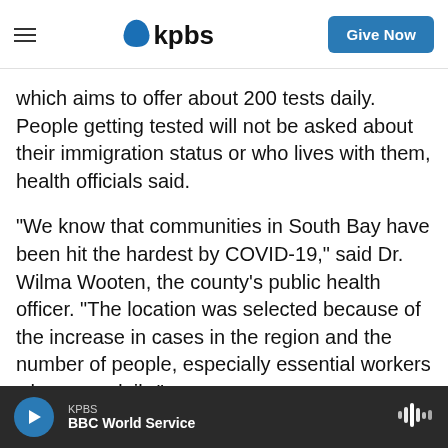KPBS
which aims to offer about 200 tests daily. People getting tested will not be asked about their immigration status or who lives with them, health officials said.
"We know that communities in South Bay have been hit the hardest by COVID-19," said Dr. Wilma Wooten, the county's public health officer. "The location was selected because of the increase in cases in the region and the number of people, especially essential workers who cross daily."
Of the total positive cases in the county, 2,792 — or
KPBS / BBC World Service